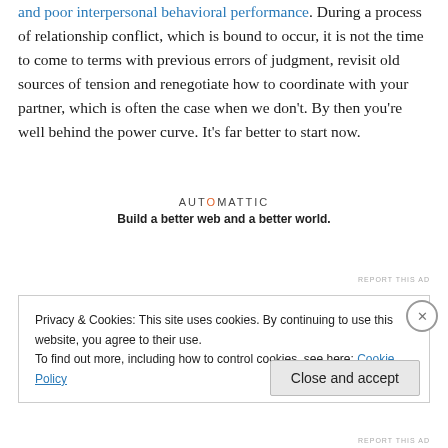and poor interpersonal behavioral performance. During a process of relationship conflict, which is bound to occur, it is not the time to come to terms with previous errors of judgment, revisit old sources of tension and renegotiate how to coordinate with your partner, which is often the case when we don't. By then you're well behind the power curve. It's far better to start now.
[Figure (logo): Automattic logo with tagline: Build a better web and a better world.]
REPORT THIS AD
Privacy & Cookies: This site uses cookies. By continuing to use this website, you agree to their use. To find out more, including how to control cookies, see here: Cookie Policy
Close and accept